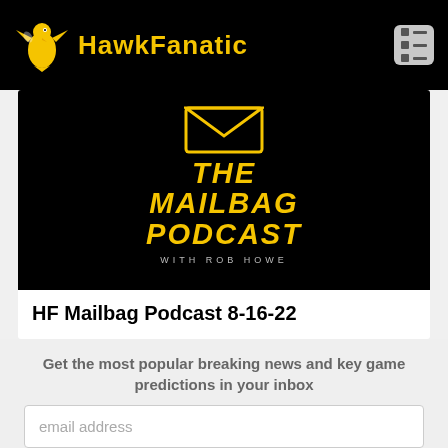HawkFanatic
[Figure (illustration): The Mailbag Podcast with Rob Howe podcast cover art — black background with yellow bold italic text and an envelope icon]
HF Mailbag Podcast 8-16-22
Get the most popular breaking news and key game predictions in your inbox
email address